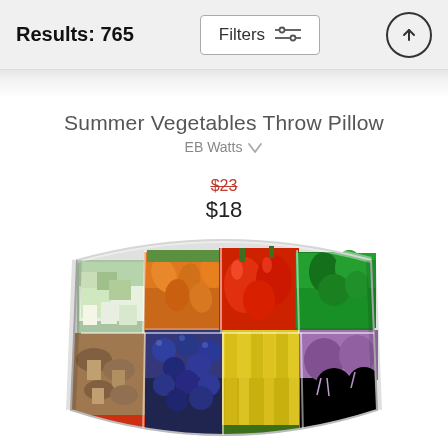Results: 765
Summer Vegetables Throw Pillow
EB Watts ♡
$23 (strikethrough) $18
[Figure (photo): A throw pillow featuring a collage of summer vegetables: cauliflower, broccoli (top left), carrots (top center-left), red bell peppers (top center-right), green herbs/kale (top right), mushrooms (bottom left), blueberries (bottom center-left), yellow squash/zucchini (bottom center-right), purple onions/garlic (bottom right).]